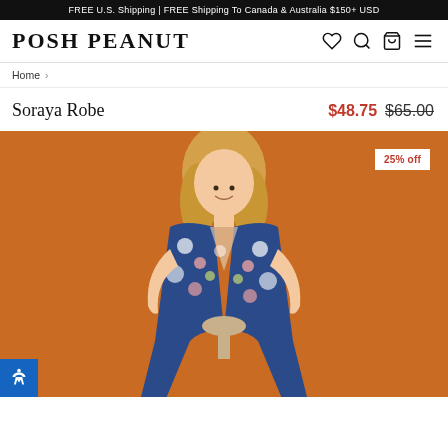FREE U.S. Shipping | FREE Shipping To Canada & Australia $150+ USD
POSH PEANUT
Home >
Soraya Robe  $48.75  $65.00
[Figure (photo): A smiling blonde woman wearing a floral robe with sunflower print on a blue base, standing against an orange background. A '25% off' badge is visible in the top-right corner.]